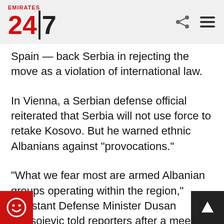Emirates 24|7
Spain — back Serbia in rejecting the move as a violation of international law.
In Vienna, a Serbian defense official reiterated that Serbia will not use force to retake Kosovo. But he warned ethnic Albanians against “provocations.”
“What we fear most are armed Albanian groups operating within the region,” Assistant Defense Minister Dusan Spasojevic told reporters after a meeting of the Organisation for Security and operation. “But we fully trust... KFOR